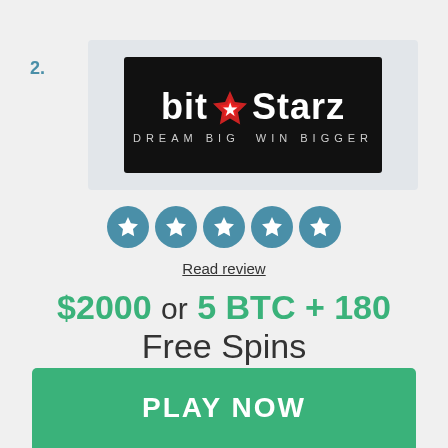2.
[Figure (logo): BitStarz casino logo — black background with 'bit' in white bold text, a red star icon, 'Starz' in white bold text, and tagline 'DREAM BIG WIN BIGGER' in grey letters below]
[Figure (infographic): Five blue circle star rating icons in a row]
Read review
$2000 or 5 BTC + 180 Free Spins
PLAY NOW